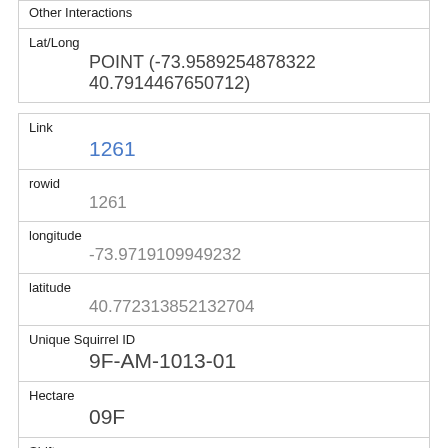Other Interactions
| Field | Value |
| --- | --- |
| Lat/Long | POINT (-73.9589254878322 40.7914467650712) |
| Link | 1261 |
| rowid | 1261 |
| longitude | -73.9719109949232 |
| latitude | 40.772313852132704 |
| Unique Squirrel ID | 9F-AM-1013-01 |
| Hectare | 09F |
| Shift | AM |
| Date | 10132018 |